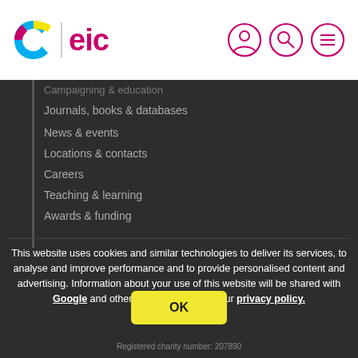C | eic [logo header with navigation icons]
Campaigning & education
Journals, books & databases
News & events
Locations & contacts
Careers
Teaching & learning
Awards & funding
This website uses cookies and similar technologies to deliver its services, to analyse and improve performance and to provide personalised content and advertising. Information about your use of this website will be shared with Google and other third parties. Read our privacy policy.
Registered charity number: 207890